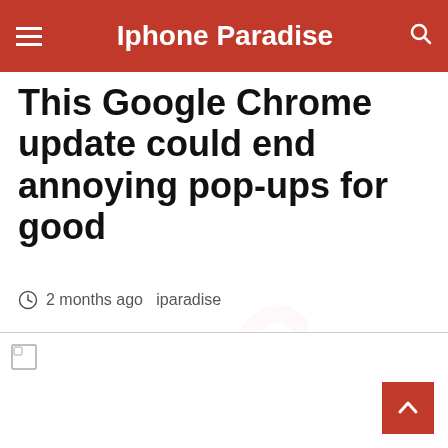Iphone Paradise
This Google Chrome update could end annoying pop-ups for good
2 months ago  iparadise
[Figure (photo): Article image placeholder (broken image icon visible, image failed to load)]